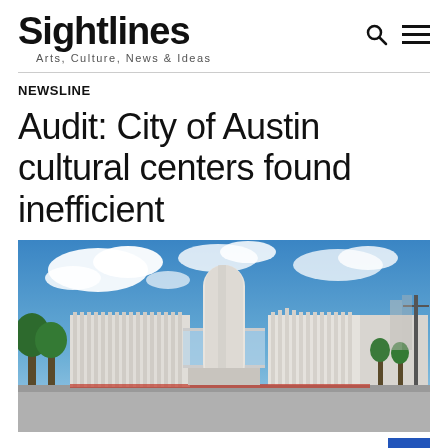Sightlines — Arts, Culture, News & Ideas
NEWSLINE
Audit: City of Austin cultural centers found inefficient
[Figure (photo): Exterior photograph of the Emma S. Barrientos Mexican American Cultural Center under a blue sky with white clouds. The building features white vertical fins/screens on the facade, a glass walkway connector, and a large cylindrical tower element in the center.]
Emma S. Barrientos Mexican American Cultural Center